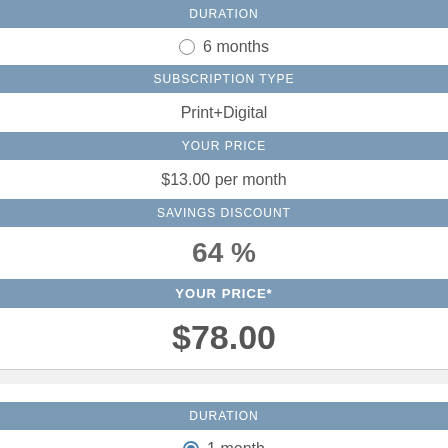DURATION
6 months
SUBSCRIPTION TYPE
Print+Digital
YOUR PRICE
$13.00 per month
SAVINGS DISCOUNT
64 %
YOUR PRICE*
$78.00
DURATION
1 month
SUBSCRIPTION TYPE